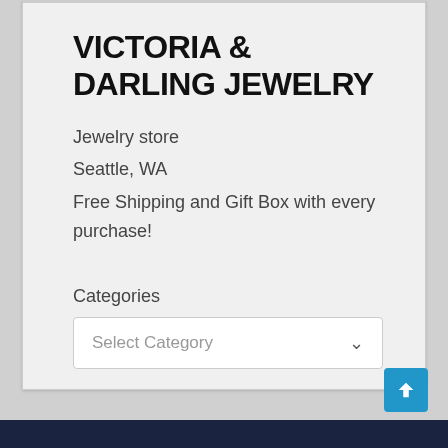VICTORIA & DARLING JEWELRY
Jewelry store
Seattle, WA
Free Shipping and Gift Box with every purchase!
Categories
Select Category